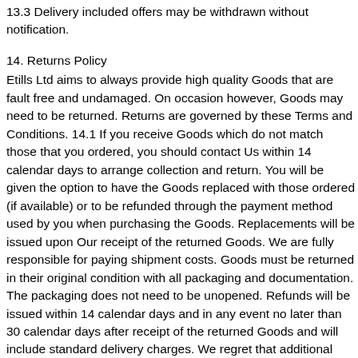13.3 Delivery included offers may be withdrawn without notification.
14. Returns Policy
Etills Ltd aims to always provide high quality Goods that are fault free and undamaged. On occasion however, Goods may need to be returned. Returns are governed by these Terms and Conditions. 14.1 If you receive Goods which do not match those that you ordered, you should contact Us within 14 calendar days to arrange collection and return. You will be given the option to have the Goods replaced with those ordered (if available) or to be refunded through the payment method used by you when purchasing the Goods. Replacements will be issued upon Our receipt of the returned Goods. We are fully responsible for paying shipment costs. Goods must be returned in their original condition with all packaging and documentation. The packaging does not need to be unopened. Refunds will be issued within 14 calendar days and in any event no later than 30 calendar days after receipt of the returned Goods and will include standard delivery charges. We regret that additional costs such as express delivery and giftwrapping cannot be refunded.